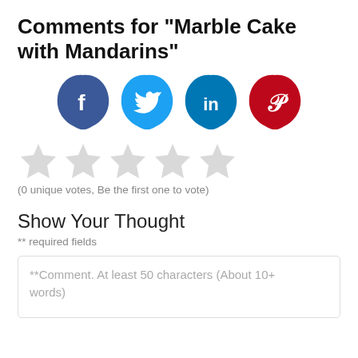Comments for "Marble Cake with Mandarins"
[Figure (infographic): Four social media share icons in blob/splash shapes: Facebook (dark blue, f), Twitter (light blue, bird), LinkedIn (medium blue, in), Pinterest (red, P)]
[Figure (infographic): Five empty/unfilled star rating icons in light gray]
(0 unique votes, Be the first one to vote)
Show Your Thought
** required fields
**Comment. At least 50 characters (About 10+ words)